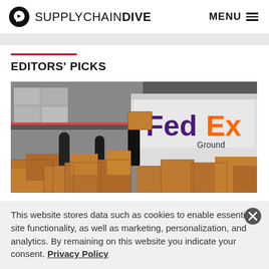SUPPLYCHAINDIVE  MENU
EDITORS' PICKS
[Figure (photo): Workers unloading large cardboard boxes from a FedEx Ground truck on a city street, with many packages stacked around them]
This website stores data such as cookies to enable essential site functionality, as well as marketing, personalization, and analytics. By remaining on this website you indicate your consent. Privacy Policy